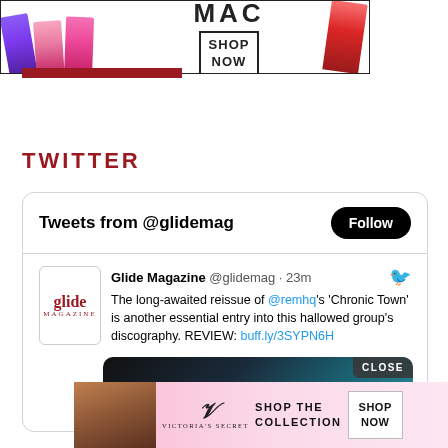[Figure (photo): MAC Cosmetics advertisement banner with lipsticks on the left and right, MAC logo in center, and a 'SHOP NOW' button]
TWITTER
Tweets from @glidemag
Glide Magazine @glidemag · 23m
The long-awaited reissue of @remhq's 'Chronic Town' is another essential entry into this hallowed group's discography. REVIEW: buff.ly/3SYPN6H
[Figure (screenshot): Tweet image preview with dark background and teal/blue tones, with a CLOSE button]
[Figure (photo): Victoria's Secret advertisement with a model, VS logo, 'SHOP THE COLLECTION' text, and 'SHOP NOW' button on pink background]